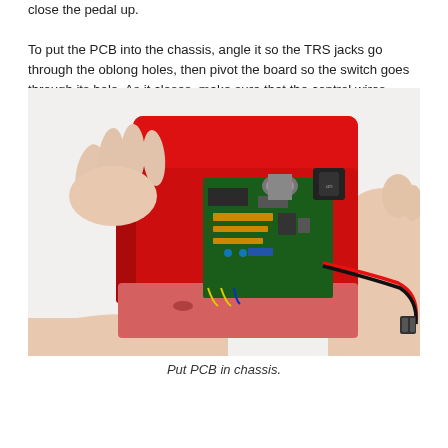close the pedal up.

To put the PCB into the chassis, angle it so the TRS jacks go through the oblong holes, then pivot the board so the switch goes through its hole. As it closes, make sure that the control wires aren't hanging up on anything, and if you've got a PTH LED, take care to get it through the chassis hole, too.
[Figure (photo): Hands inserting a PCB with electronics and wires (red/black wire harness visible) into a red 3D-printed pedal chassis, with circuit board and components partially visible]
Put PCB in chassis.